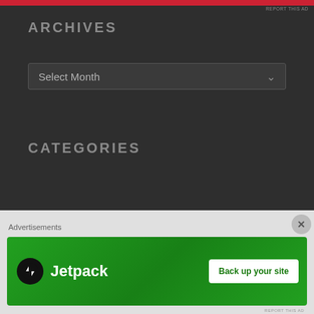ARCHIVES
Select Month
CATEGORIES
Select Category
marajade29sm
Advertisements
[Figure (screenshot): Jetpack advertisement banner with green background, Jetpack logo on left and 'Back up your site' white button on right]